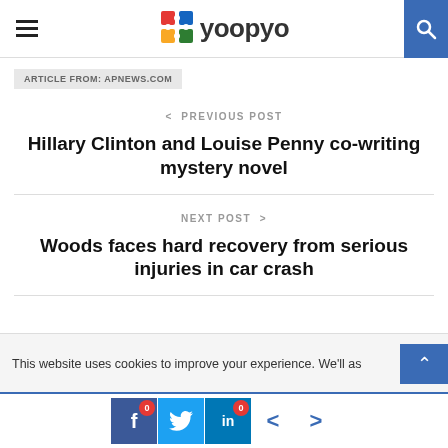yoopya
ARTICLE FROM: APNEWS.COM
< PREVIOUS POST
Hillary Clinton and Louise Penny co-writing mystery novel
NEXT POST >
Woods faces hard recovery from serious injuries in car crash
This website uses cookies to improve your experience. We'll as